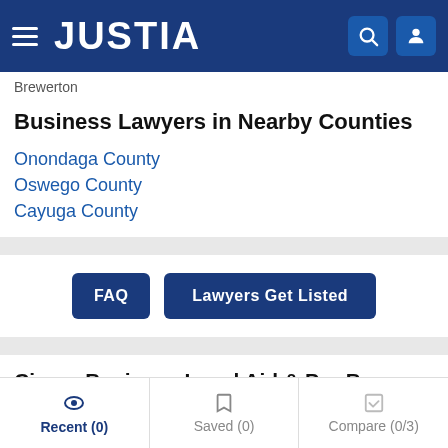JUSTIA
Brewerton
Business Lawyers in Nearby Counties
Onondaga County
Oswego County
Cayuga County
FAQ
Lawyers Get Listed
Cicero Business Legal Aid & Pro Bono Services
Recent (0)
Saved (0)
Compare (0/3)